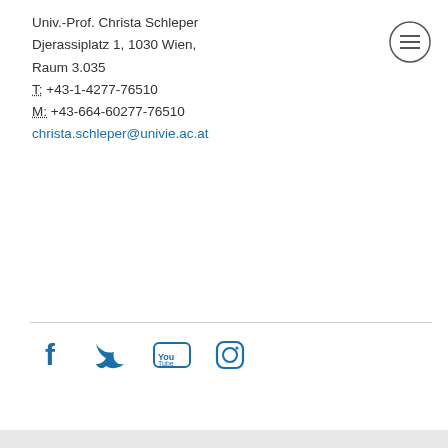Univ.-Prof. Christa Schleper
Djerassiplatz 1, 1030 Wien,
Raum 3.035
T: +43-1-4277-76510
M: +43-664-60277-76510
christa.schleper@univie.ac.at
[Figure (illustration): Hamburger menu icon (three horizontal lines inside a circle)]
[Figure (illustration): Social media icons: Facebook, Twitter, YouTube, Instagram]
Universität Wien | Universitätsring 1 | 1010 Wien | T +43-1-4277-0
Sitemap | Impressum | Barrierefreiheit | Datenschutzerklärung | Druckversion